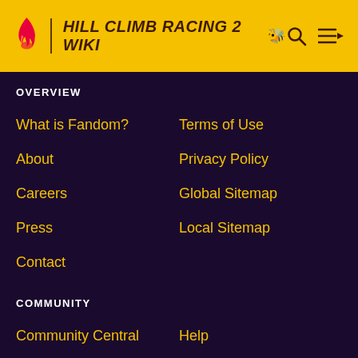HILL CLIMB RACING 2 WIKI
OVERVIEW
What is Fandom?
Terms of Use
About
Privacy Policy
Careers
Global Sitemap
Press
Local Sitemap
Contact
COMMUNITY
Community Central
Help
Support
ADVERTISE